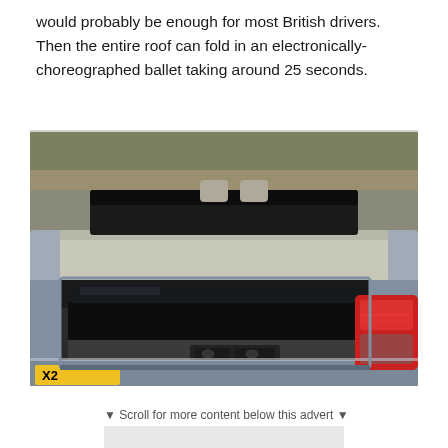would probably be enough for most British drivers. Then the entire roof can fold in an electronically-choreographed ballet taking around 25 seconds.
[Figure (photo): Rear view of a silver convertible car with the boot open and the folding hardtop roof mechanism visible. The trunk shows the roof panels folded inside. A yellow UK licence plate with partial text 'X2' is visible at the bottom left, and red tail lights on the right side.]
▼ Scroll for more content below this advert ▼